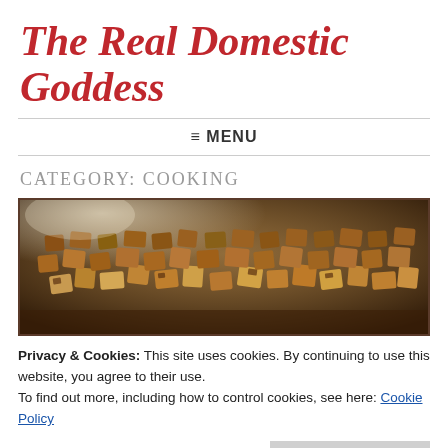The Real Domestic Goddess
≡ MENU
CATEGORY: COOKING
[Figure (photo): A baking tray with toasted bread croutons or roasted potato cubes, golden brown and crispy, on a dark background.]
Privacy & Cookies: This site uses cookies. By continuing to use this website, you agree to their use.
To find out more, including how to control cookies, see here: Cookie Policy
Close and accept